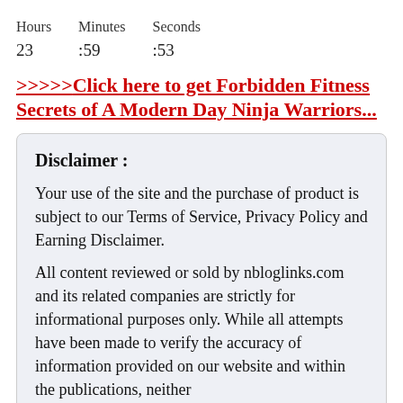| Hours | Minutes | Seconds |
| --- | --- | --- |
| 23 | :59 | :53 |
>>>>>Click here to get Forbidden Fitness Secrets of A Modern Day Ninja Warriors...
Disclaimer :
Your use of the site and the purchase of product is subject to our Terms of Service, Privacy Policy and Earning Disclaimer.
All content reviewed or sold by nbloglinks.com and its related companies are strictly for informational purposes only. While all attempts have been made to verify the accuracy of information provided on our website and within the publications, neither